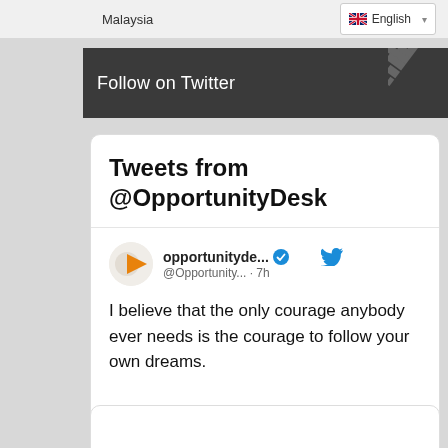Malaysia
🇬🇧 English ▾
Follow on Twitter
Tweets from @OpportunityDesk
opportunityde... @Opportunity... · 7h
I believe that the only courage anybody ever needs is the courage to follow your own dreams.

~ Oprah Winfrey

#odquotes